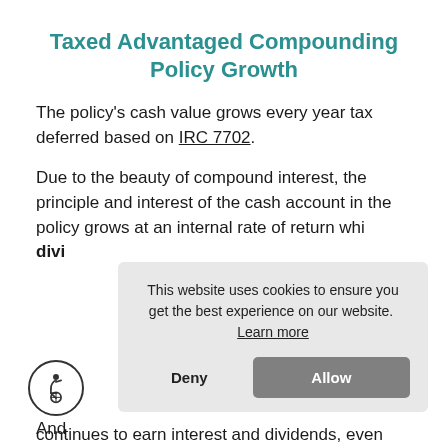Taxed Advantaged Compounding Policy Growth
The policy's cash value grows every year tax deferred based on IRC 7702.
Due to the beauty of compound interest, the principle and interest of the cash account in the policy grows at an internal rate of return whi[ch includes tax-free] divi[dends]
This website uses cookies to ensure you get the best experience on our website.  Learn more
Deny
Allow
And
continues to earn interest and dividends, even